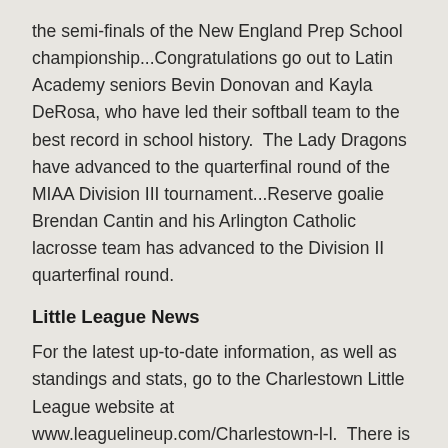the semi-finals of the New England Prep School championship...Congratulations go out to Latin Academy seniors Bevin Donovan and Kayla DeRosa, who have led their softball team to the best record in school history.  The Lady Dragons have advanced to the quarterfinal round of the MIAA Division III tournament...Reserve goalie Brendan Cantin and his Arlington Catholic lacrosse team has advanced to the Division II quarterfinal round.
Little League News
For the latest up-to-date information, as well as standings and stats, go to the Charlestown Little League website at www.leaguelineup.com/Charlestown-l-l.  There is also a photo album icon on the main menu which contains more than a hundred individual and action photos of